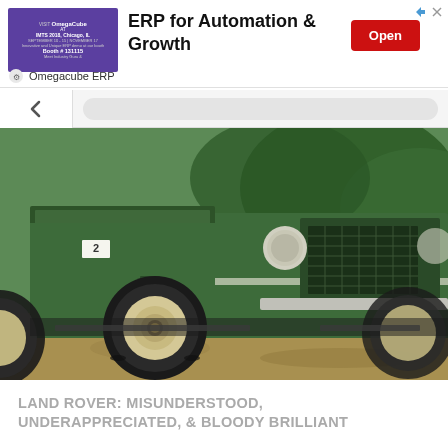[Figure (screenshot): Advertisement banner for Omegacube ERP showing purple event graphic on left, 'ERP for Automation & Growth' heading, red Open button, and Omegacube ERP brand name below]
[Figure (screenshot): Browser UI chrome showing back navigation chevron button and URL bar]
[Figure (photo): Close-up front three-quarter view of a vintage green Land Rover Series II with cream/beige wheels, chrome grille, round headlights, parked on gravel/grass]
LAND ROVER: MISUNDERSTOOD, UNDERAPPRECIATED, & BLOODY BRILLIANT